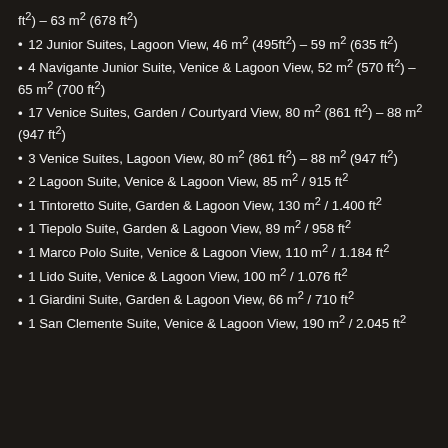ft²) – 63 m² (678 ft²)
12 Junior Suites, Lagoon View, 46 m² (495ft²) – 59 m² (635 ft²)
4 Navigante Junior Suite, Venice & Lagoon View, 52 m² (570 ft²) – 65 m² (700 ft²)
17 Venice Suites, Garden / Courtyard View, 80 m² (861 ft²) – 88 m² (947 ft²)
3 Venice Suites, Lagoon View, 80 m² (861 ft²) – 88 m² (947 ft²)
2 Lagoon Suite, Venice & Lagoon View, 85 m² / 915 ft²
1 Tintoretto Suite, Garden & Lagoon View, 130 m² / 1.400 ft²
1 Tiepolo Suite, Garden & Lagoon View, 89 m² / 958 ft²
1 Marco Polo Suite, Venice & Lagoon View, 110 m² / 1.184 ft²
1 Lido Suite, Venice & Lagoon View, 100 m² / 1.076 ft²
1 Giardini Suite, Garden & Lagoon View, 66 m² / 710 ft²
1 San Clemente Suite, Venice & Lagoon View, 190 m² / 2.045 ft²